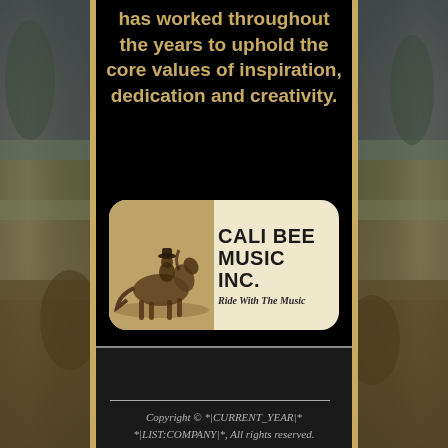has worked throughout the years to uphold the core values of inspiration, dedication and creativity.
[Figure (logo): Cali Bee Music Inc. logo showing a rider on horseback (sepia tone) on the left, and the text 'CALI BEE MUSIC INC.' with tagline 'Ride With The Music' on the right, inside a rounded rectangle with cream background.]
Copyright © *|CURRENT_YEAR|* *|LIST:COMPANY|*, All rights reserved.